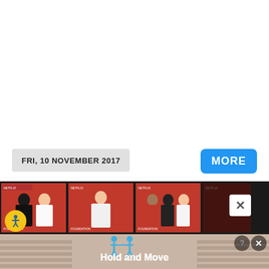FRI, 10 NOVEMBER 2017
MORE
[Figure (photo): Horizontal filmstrip of celebrity photos on a dark background, featuring multiple thumbnails of people at what appears to be a Netflix red carpet event. A white X close button is visible on the right side.]
[Figure (screenshot): Mobile advertisement banner showing two blue stick figures holding hands with text 'Hold and Move' on a beige/tan staircase background. A close button with X and question mark icons appears in the top right corner.]